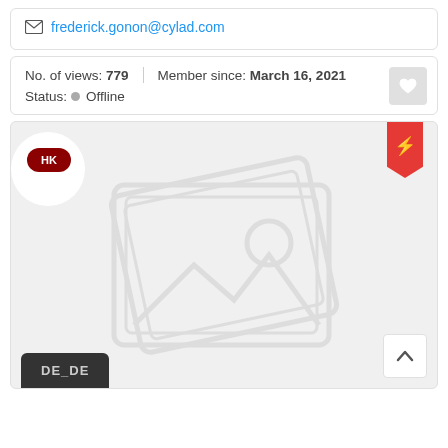frederick.gonon@cylad.com
No. of views: 779 | Member since: March 16, 2021
Status: Offline
[Figure (screenshot): Listing card with HK badge, image placeholder icons, lightning bookmark badge, DE_DE label badge, and scroll-to-top button]